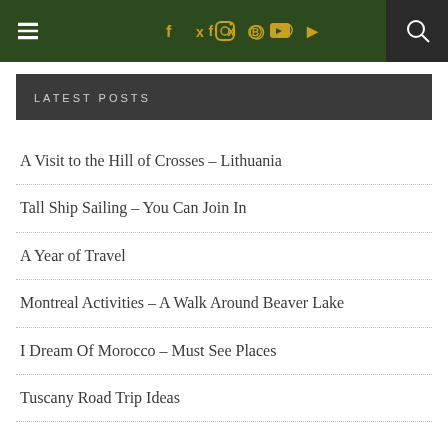Navigation bar with hamburger menu, social icons (f, t, instagram, pinterest, youtube), and search
LATEST POSTS
A Visit to the Hill of Crosses – Lithuania
Tall Ship Sailing – You Can Join In
A Year of Travel
Montreal Activities – A Walk Around Beaver Lake
I Dream Of Morocco – Must See Places
Tuscany Road Trip Ideas